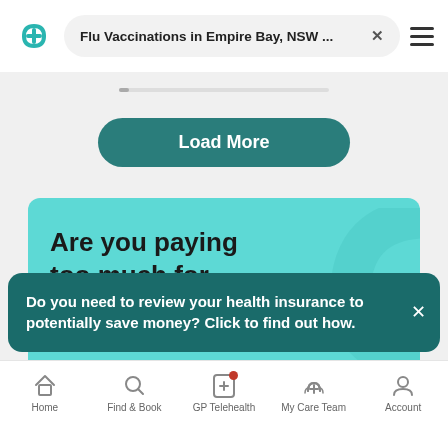Flu Vaccinations in Empire Bay, NSW ... ×
[Figure (screenshot): Load More button with teal background and rounded corners]
[Figure (illustration): Teal promotional card with text 'Are you paying too much for' and a decorative curved arc]
Do you need to review your health insurance to potentially save money? Click to find out how.
Home | Find & Book | GP Telehealth | My Care Team | Account